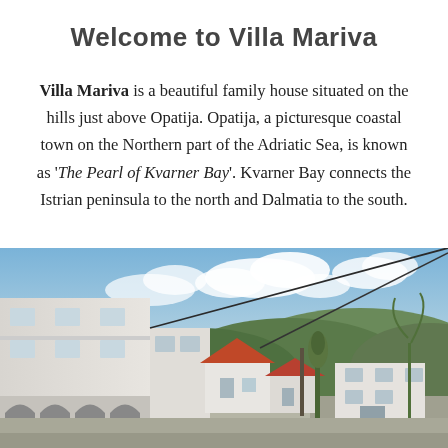Welcome to Villa Mariva
Villa Mariva is a beautiful family house situated on the hills just above Opatija. Opatija, a picturesque coastal town on the Northern part of the Adriatic Sea, is known as 'The Pearl of Kvarner Bay'. Kvarner Bay connects the Istrian peninsula to the north and Dalmatia to the south.
[Figure (photo): Exterior photo of Villa Mariva, a white multi-story building on a hillside above Opatija, with green hills in the background, blue sky with clouds, and other white houses visible nearby.]